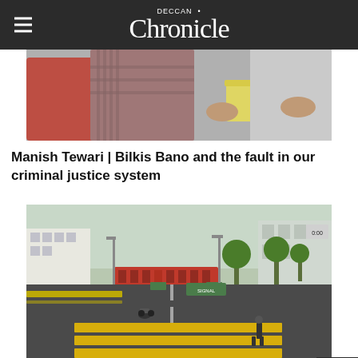DECCAN Chronicle
[Figure (photo): People standing, one holding a food container, partial view of torsos and hands]
Manish Tewari | Bilkis Bano and the fault in our criminal justice system
[Figure (photo): Aerial view of an empty city intersection during lockdown, with zebra crossing and a lone person walking]
DC Edit | Hindsight disfavours lockdowns